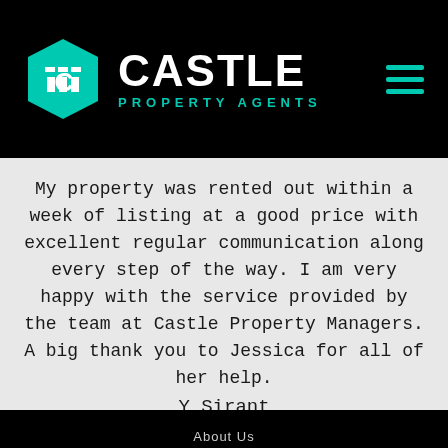[Figure (logo): Castle Property Agents logo with teal hexagon icon and white CASTLE text, teal PROPERTY AGENTS subtitle, and teal hamburger menu icon on black background]
My property was rented out within a week of listing at a good price with excellent regular communication along every step of the way. I am very happy with the service provided by the team at Castle Property Managers. A big thank you to Jessica for all of her help.
Y Sirant
About Us